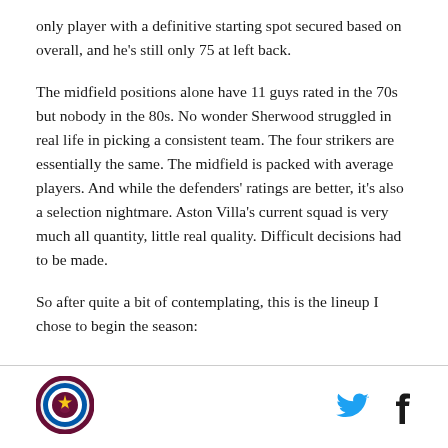only player with a definitive starting spot secured based on overall, and he's still only 75 at left back.
The midfield positions alone have 11 guys rated in the 70s but nobody in the 80s. No wonder Sherwood struggled in real life in picking a consistent team. The four strikers are essentially the same. The midfield is packed with average players. And while the defenders' ratings are better, it's also a selection nightmare. Aston Villa's current squad is very much all quantity, little real quality. Difficult decisions had to be made.
So after quite a bit of contemplating, this is the lineup I chose to begin the season:
[Figure (logo): Aston Villa circular club crest logo — maroon and blue with a gold star]